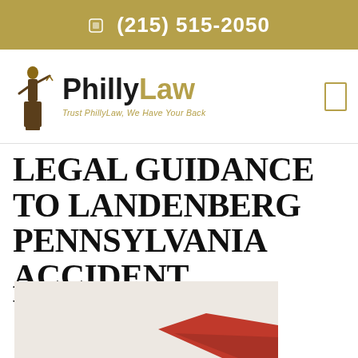☎ (215) 515-2050
[Figure (logo): PhillyLaw logo with Lady Justice statue figure and text 'PhillyLaw' with tagline 'Trust PhillyLaw, We Have Your Back']
LEGAL GUIDANCE TO LANDENBERG PENNSYLVANIA ACCIDENT VICTIMS.
[Figure (photo): Partially visible photo at bottom of page showing a red element, likely related to an accident or legal imagery]